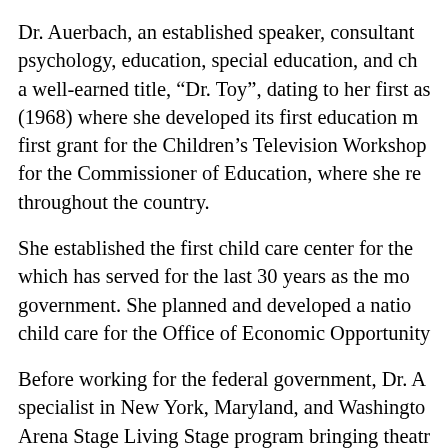Dr. Auerbach, an established speaker, consultant in psychology, education, special education, and ch a well-earned title, “Dr. Toy”, dating to her first as (1968) where she developed its first education m first grant for the Children’s Television Workshop for the Commissioner of Education, where she re throughout the country.
She established the first child care center for the which has served for the last 30 years as the mo government. She planned and developed a natio child care for the Office of Economic Opportunity
Before working for the federal government, Dr. A specialist in New York, Maryland, and Washingto Arena Stage Living Stage program bringing theatr
Dr. Auerbach has been a member of the Nationa Young Children (NAEYC), the largest professional education for more than 25 years, and is a regula